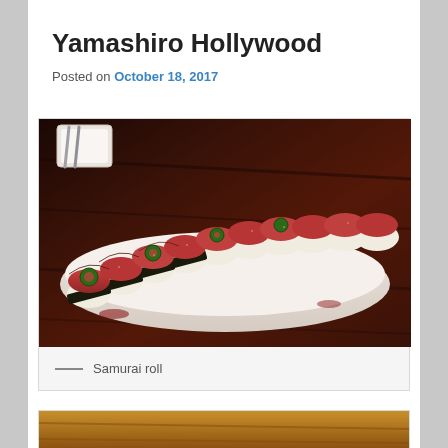Yamashiro Hollywood
Posted on October 18, 2017
[Figure (photo): A sushi samurai roll served on a white rectangular plate on a dark wood table. The roll consists of multiple pieces topped with thin slices of tuna, jalapeño rounds, and garnish.]
— Samurai roll
[Figure (photo): Partial view of another food photograph at the bottom of the page.]